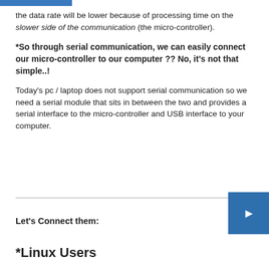the data rate will be lower because of processing time on the slower side of the communication (the micro-controller).
*So through serial communication, we can easily connect our micro-controller to our computer ?? No, it's not that simple..!
Today's pc / laptop does not support serial communication so we need a serial module that sits in between the two and provides a serial interface to the micro-controller and USB interface to your computer.
Let's Connect them:
*Linux Users